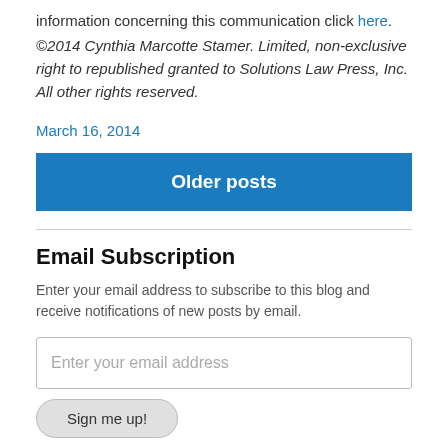information concerning this communication click here.
©2014 Cynthia Marcotte Stamer. Limited, non-exclusive right to republished granted to Solutions Law Press, Inc. All other rights reserved.
March 16, 2014
Older posts
Email Subscription
Enter your email address to subscribe to this blog and receive notifications of new posts by email.
Enter your email address
Sign me up!